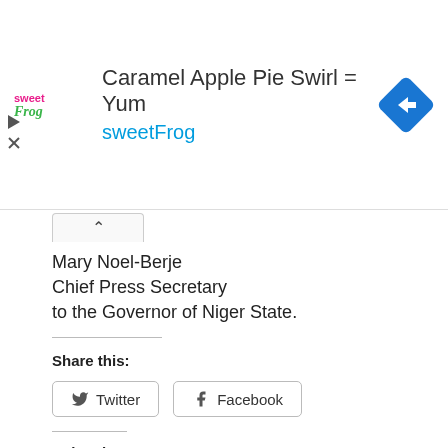[Figure (infographic): Advertisement banner for sweetFrog featuring text 'Caramel Apple Pie Swirl = Yum' and 'sweetFrog' brand name in teal, with sweetFrog logo on left and blue diamond navigation arrow icon on right]
Mary Noel-Berje
Chief Press Secretary
to the Governor of Niger State.
Share this:
Twitter
Facebook
Related
NIGER STATE GOV WHILST INTERACTING WITH APC STAKEHOLDERS IN KONTAGORA LGA
GOVERNOR ABUBAKAR SANI BELLO ADVOCATES COMMERCIAL MECHANIZED AGRICULTURE FOR FOOD